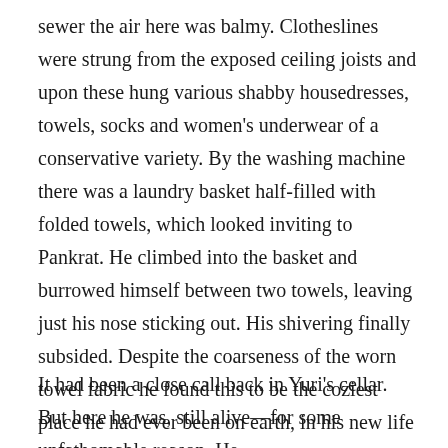sewer the air here was balmy. Clotheslines were strung from the exposed ceiling joists and upon these hung various shabby housedresses, towels, socks and women's underwear of a conservative variety. By the washing machine there was a laundry basket half-filled with folded towels, which looked inviting to Pankrat. He climbed into the basket and burrowed himself between two towels, leaving just his nose sticking out. His shivering finally subsided. Despite the coarseness of the worn towel fabric he found this to be the coziest place he had ever been on earth, in his new life or in his last.
It had been a close call back in Yuri's cellar. But here he was, still alive—for some unfathomable reason. He